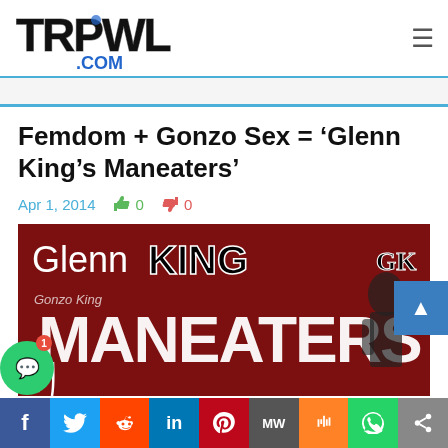[Figure (logo): TRPWL.com website logo in graffiti/drip style black and blue lettering]
Femdom + Gonzo Sex = ‘Glenn King’s Maneaters’
Apr 1, 2014   👍 0   👎 0
[Figure (photo): Glenn King Maneaters DVD cover — red background with white dripping Maneaters text and Glenn KING logo at top, man in background]